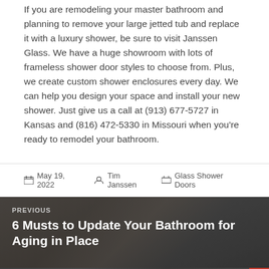If you are remodeling your master bathroom and planning to remove your large jetted tub and replace it with a luxury shower, be sure to visit Janssen Glass. We have a huge showroom with lots of frameless shower door styles to choose from. Plus, we create custom shower enclosures every day. We can help you design your space and install your new shower. Just give us a call at (913) 677-5727 in Kansas and (816) 472-5330 in Missouri when you're ready to remodel your bathroom.
May 19, 2022  Tim Janssen  Glass Shower Doors
[Figure (photo): Bathroom interior with glass shower, used as background for PREVIOUS navigation link to '6 Musts to Update Your Bathroom for Aging in Place']
[Figure (photo): Bathroom interior with frameless shower, used as background for NEXT navigation link to 'The Case for Frameless Shower Doors']